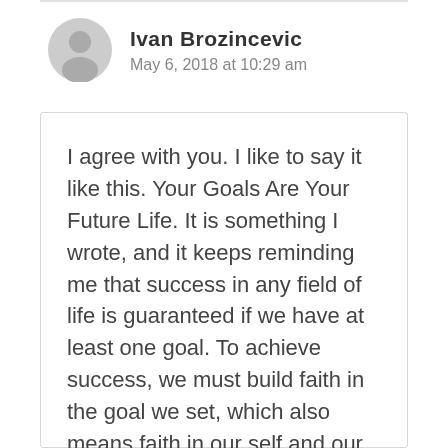Ivan Brozincevic
May 6, 2018 at 10:29 am
I agree with you. I like to say it like this. Your Goals Are Your Future Life. It is something I wrote, and it keeps reminding me that success in any field of life is guaranteed if we have at least one goal. To achieve success, we must build faith in the goal we set, which also means faith in our self and our abilities to make it. Proper motivation will create a feeling of faith or confidence much faster. And, that is how Six Minutes...